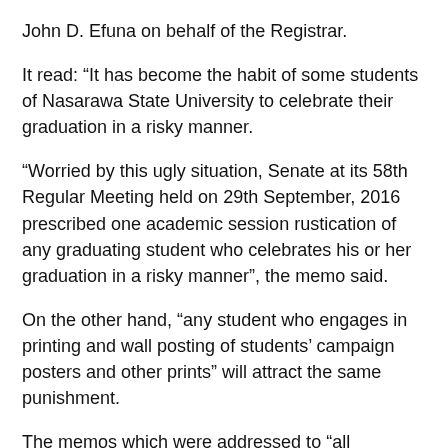John D. Efuna on behalf of the Registrar.
It read: “It has become the habit of some students of Nasarawa State University to celebrate their graduation in a risky manner.
“Worried by this ugly situation, Senate at its 58th Regular Meeting held on 29th September, 2016 prescribed one academic session rustication of any graduating student who celebrates his or her graduation in a risky manner”, the memo said.
On the other hand, “any student who engages in printing and wall posting of students’ campaign posters and other prints” will attract the same punishment.
The memos which were addressed to “all students” and copied to the Vice Chancellor, Deputy Vice Chancellor (Academic & Administration), Deans, Head of Departments, Chief Security Officer (CSO), Information and Protocol Officer and to be placed on all notice boards, instructed “the CSO and other Officers of the University” to enforce the